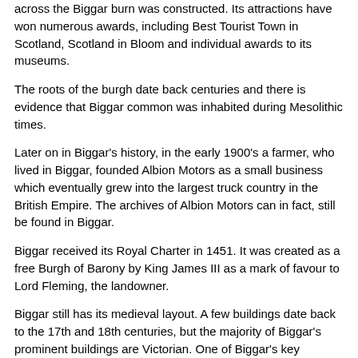across the Biggar burn was constructed. Its attractions have won numerous awards, including Best Tourist Town in Scotland, Scotland in Bloom and individual awards to its museums.
The roots of the burgh date back centuries and there is evidence that Biggar common was inhabited during Mesolithic times.
Later on in Biggar's history, in the early 1900's a farmer, who lived in Biggar, founded Albion Motors as a small business which eventually grew into the largest truck country in the British Empire. The archives of Albion Motors can in fact, still be found in Biggar.
Biggar received its Royal Charter in 1451. It was created as a free Burgh of Barony by King James III as a mark of favour to Lord Fleming, the landowner.
Biggar still has its medieval layout. A few buildings date back to the 17th and 18th centuries, but the majority of Biggar's prominent buildings are Victorian. One of Biggar's key buildings, the 450 year old Biggar Kirk, was built by the Flemming Family of Biggar.
Its vibrant local traditions and festivals have contributed to Biggar's development into a thriving community, with a range of facilities and activities.